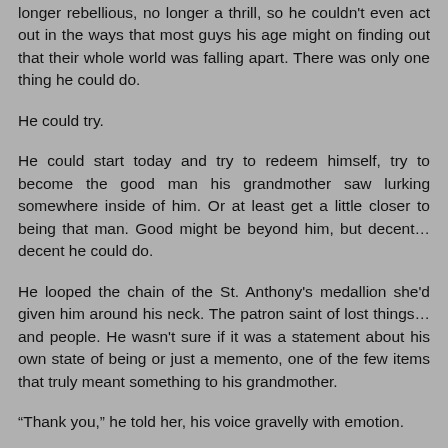longer rebellious, no longer a thrill, so he couldn't even act out in the ways that most guys his age might on finding out that their whole world was falling apart. There was only one thing he could do.
He could try.
He could start today and try to redeem himself, try to become the good man his grandmother saw lurking somewhere inside of him. Or at least get a little closer to being that man. Good might be beyond him, but decent… decent he could do.
He looped the chain of the St. Anthony's medallion she'd given him around his neck. The patron saint of lost things… and people. He wasn't sure if it was a statement about his own state of being or just a memento, one of the few items that truly meant something to his grandmother.
“Thank you,” he told her, his voice gravelly with emotion.
The two words were inadequate; they could never express